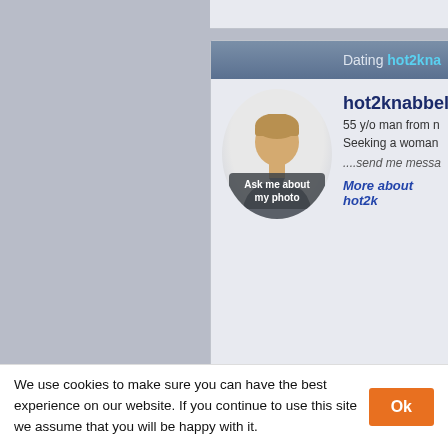[Figure (screenshot): Dating profile card for hot2knabbel - 55 y/o man with default avatar, profile views 2584]
Dating hot2kna
hot2knabbel
55 y/o man from n
Seeking a woman
....send me messa
More about hot2k
Profile views:2584   Ph
[Figure (screenshot): Dating profile card for zinar - 55 y/o man, offline, with default avatar]
Dating zina
zinar  Offline
55 y/o man from ro
Seeking a woman f
We use cookies to make sure you can have the best experience on our website. If you continue to use this site we assume that you will be happy with it.
Ok